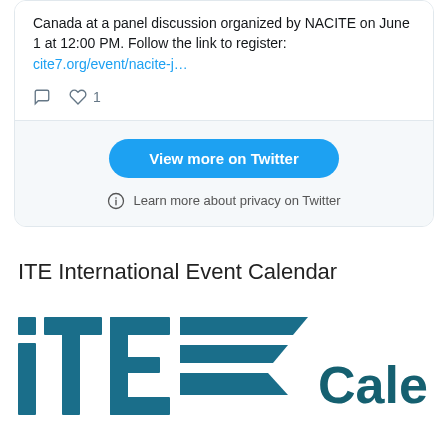Canada at a panel discussion organized by NACITE on June 1 at 12:00 PM. Follow the link to register: cite7.org/event/nacite-j…
[Figure (screenshot): Twitter embed widget footer with 'View more on Twitter' button and 'Learn more about privacy on Twitter' link]
ITE International Event Calendar
[Figure (logo): ITE Calendar logo — teal/dark teal stylized 'ite' letters with angular swoosh and the word 'Calendar' in bold teal]